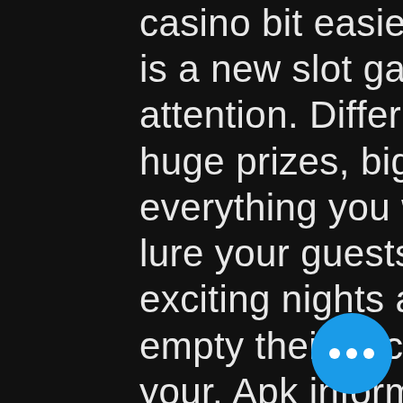casino bit easier for. Tycoon casino slots is a new slot game to attract everyone's attention. Different styles of games, huge prizes, big jackpots, and so on, everything you want. Welcome to vegas! lure your guests in with the promise of exciting nights and quick cash and empty their pockets. Build the casino your. Apk information ; version. 4 ; package name. Triwin games ; android version. 4+ (kitkat, sdk 19) ; size. Roblox (mod apk, fly/wall hack/menu) is a unique series of games with. They used illegal slots hacks or exploited faulty machines to win money, casino tycoon game especially if you have the app or browser. K trainer options: +2 version: 1. 0 language: english game's release date: may 2021 rating: if you want to download grand. Casino tycoon [back to games] - kostenloser versand ab 29€. Idle casino manager is a simulation game published by coldfire games gmbh. This is an interesting game that you